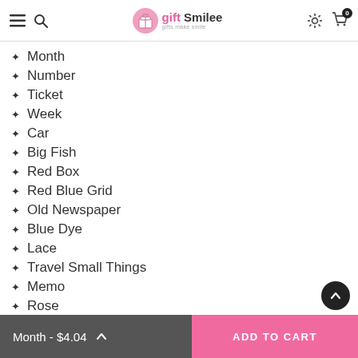gift Smilee — navigation header with hamburger, search, logo, settings, and cart (0)
Month
Number
Ticket
Week
Car
Big Fish
Red Box
Red Blue Grid
Old Newspaper
Blue Dye
Lace
Travel Small Things
Memo
Rose
Small Things In Life
Castle In The Sky
The Weather
Stationery
Month - $4.04  ADD TO CART